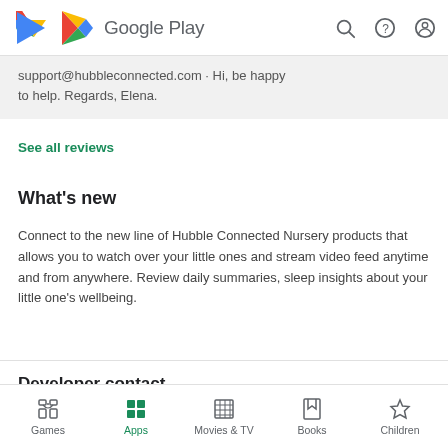Google Play
...support@hubbleconnected.com · Hi, be happy to help. Regards, Elena.
See all reviews
What's new
Connect to the new line of Hubble Connected Nursery products that allows you to watch over your little ones and stream video feed anytime and from anywhere. Review daily summaries, sleep insights about your little one's wellbeing.
Developer contact
More by Hubble Connected
Games | Apps | Movies & TV | Books | Children